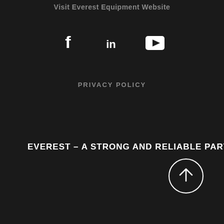Visit Everest Equipment Website
[Figure (illustration): Social media icons: Facebook (f), LinkedIn (in), YouTube (play button triangle in rounded rectangle)]
PRIVACY POLICY
EVEREST – A STRONG AND RELIABLE PARTNER
[Figure (illustration): Circle with upward arrow icon (back to top button)]